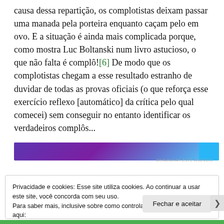causa dessa repartição, os complotistas deixam passar uma manada pela porteira enquanto caçam pelo em ovo. E a situação é ainda mais complicada porque, como mostra Luc Boltanski num livro astucioso, o que não falta é complô![6] De modo que os complotistas chegam a esse resultado estranho de duvidar de todas as provas oficiais (o que reforça esse exercício reflexo [automático] da crítica pelo qual comecei) sem conseguir no entanto identificar os verdadeiros complôs...
[Figure (other): Advertisement banner with purple gradient background and cyan accent on the right side]
Privacidade e cookies: Esse site utiliza cookies. Ao continuar a usar este site, você concorda com seu uso.
Para saber mais, inclusive sobre como controlar os cookies, consulte aqui:
Política de cookies
Fechar e aceitar